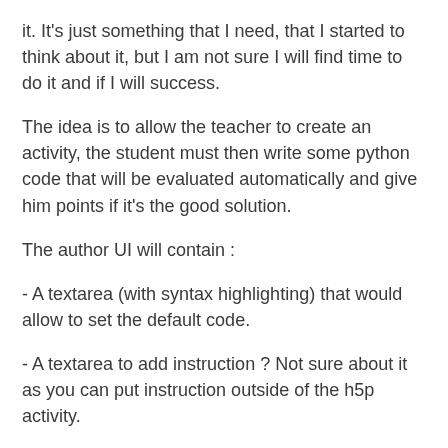it. It's just something that I need, that I started to think about it, but I am not sure I will find time to do it and if I will success.
The idea is to allow the teacher to create an activity, the student must then write some python code that will be evaluated automatically and give him points if it's the good solution.
The author UI will contain :
- A textarea (with syntax highlighting) that would allow to set the default code.
- A textarea to add instruction ? Not sure about it as you can put instruction outside of the h5p activity.
- a textarea with the solution